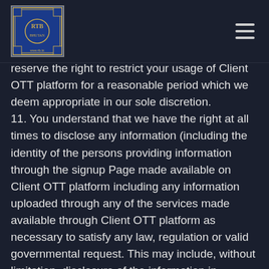[Logo] [Hamburger menu]
reserve the right to restrict your usage of Client OTT platform for a reasonable period which we deem appropriate in our sole discretion.
11. You understand that we have the right at all times to disclose any information (including the identity of the persons providing information through the signup Page made available on Client OTT platform including any information uploaded through any of the services made available through Client OTT platform as necessary to satisfy any law, regulation or valid governmental request. This may include, without limitation, disclosure of the information in connection with investigation of alleged illegal activity or solicitation of illegal activity or in response to a lawful court order or subpoena. In addition, we can (and You hereby expressly authorize us to) disclose any information about You to law enforcement or other government officials...